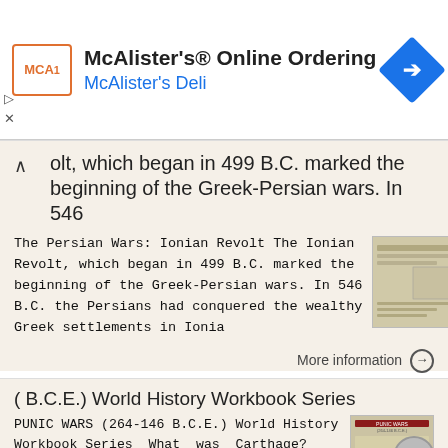[Figure (screenshot): McAlister's Online Ordering ad banner with logo, title, subtitle, and navigation icon]
olt, which began in 499 B.C. marked the beginning of the Greek-Persian wars. In 546
The Persian Wars: Ionian Revolt The Ionian Revolt, which began in 499 B.C. marked the beginning of the Greek-Persian wars. In 546 B.C. the Persians had conquered the wealthy Greek settlements in Ionia
More information →
( B.C.E.) World History Workbook Series
PUNIC WARS (264-146 B.C.E.) World History Workbook Series What was Carthage? Carthage was a powerful city located near present-day Tunis, Tunisia, along the Mediterranean coast of Africa. It was founded